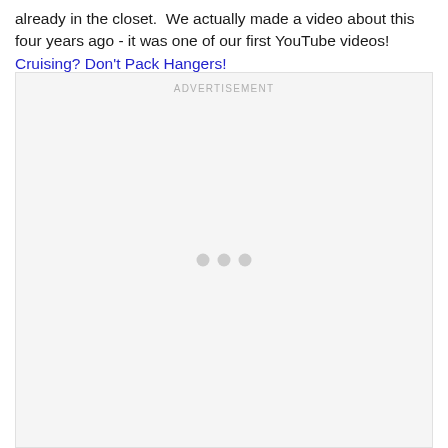already in the closet.  We actually made a video about this four years ago - it was one of our first YouTube videos!  Cruising? Don't Pack Hangers!
[Figure (other): Advertisement placeholder box with 'ADVERTISEMENT' label at top and three grey dots centered in the middle of the box]